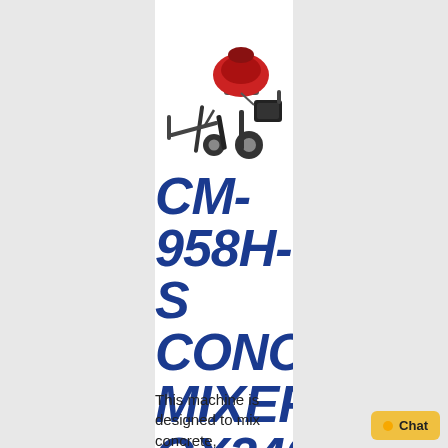[Figure (photo): A red and black concrete mixer machine on wheels with a motor, viewed from the side-front angle.]
CM-958H-S CONCRETE MIXER GX240
This machine is designed to mix concrete,